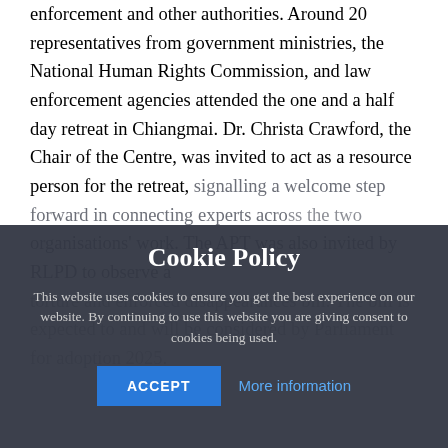enforcement and other authorities. Around 20 representatives from government ministries, the National Human Rights Commission, and law enforcement agencies attended the one and a half day retreat in Chiangmai. Dr. Christa Crawford, the Chair of the Centre, was invited to act as a resource person for the retreat, signalling a welcome step forward in connecting experts across the two organisations' work. The APT was also invited by RLPD to observe a torture and enforced disappearances bill. The bill is expected to and will be considered by Parliament for adoption 2025.
Cookie Policy
This website uses cookies to ensure you get the best experience on our website. By continuing to use this website you are giving consent to cookies being used.
ACCEPT   More information